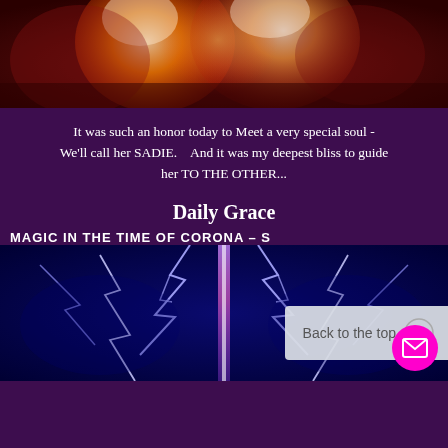[Figure (photo): Glowing abstract heart shapes in warm orange and red tones on a dark red background]
It was such an honor today to Meet a very special soul - We'll call her SADIE.    And it was my deepest bliss to guide her TO THE OTHER...
Daily Grace
MAGIC IN THE TIME OF CORONA – S
[Figure (photo): Lightning bolts mirrored symmetrically on a dark blue background with a vertical purple/pink light beam in the center]